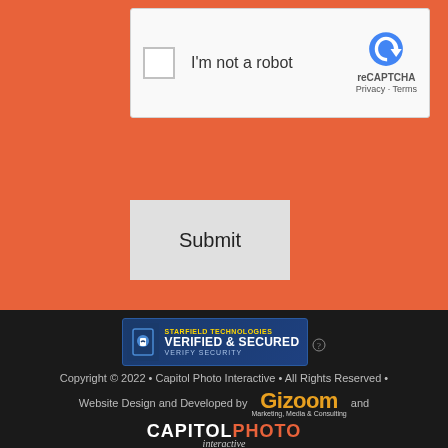[Figure (screenshot): reCAPTCHA widget with checkbox labeled 'I'm not a robot', reCAPTCHA logo and branding on the right]
[Figure (screenshot): Submit button — a light gray rectangular button with the text 'Submit']
[Figure (logo): Starfield Technologies Verified & Secured badge with shield icon]
Copyright © 2022 • Capitol Photo Interactive • All Rights Reserved •
Website Design and Developed by Gizoom and
[Figure (logo): Capitol Photo Interactive logo with orange PHOTO text and italic 'interactive' subtitle]